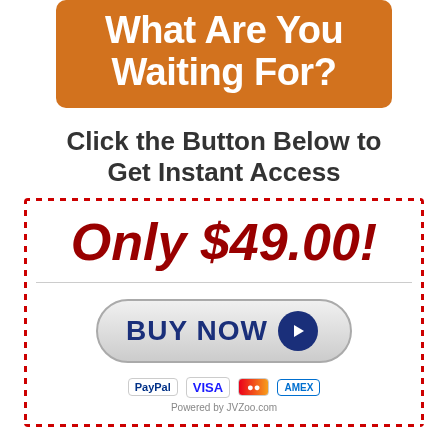What Are You Waiting For?
Click the Button Below to Get Instant Access
[Figure (infographic): A dotted red-border box containing price 'Only $49.00!', a BUY NOW button with play icon, payment logos (PayPal, Visa, Mastercard, Amex), and 'Powered by JVZoo.com' text.]